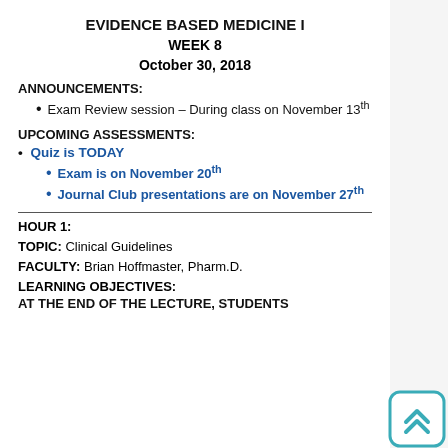EVIDENCE BASED MEDICINE I
WEEK 8
October 30, 2018
ANNOUNCEMENTS:
Exam Review session – During class on November 13th
UPCOMING ASSESSMENTS:
Quiz is TODAY
Exam is on November 20th
Journal Club presentations are on November 27th
HOUR 1:
TOPIC: Clinical Guidelines
FACULTY: Brian Hoffmaster, Pharm.D.
LEARNING OBJECTIVES:
AT THE END OF THE LECTURE, STUDENTS